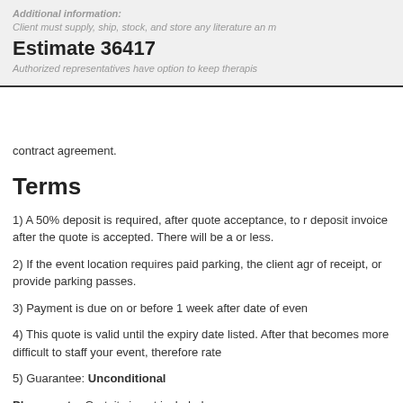Additional information:
Client must supply, ship, stock, and store any literature an
Estimate 36417
Authorized representatives have option to keep therapist
contract agreement.
Terms
1) A 50% deposit is required, after quote acceptance, to receive deposit invoice after the quote is accepted. There will be a or less.
2) If the event location requires paid parking, the client agrees of receipt, or provide parking passes.
3) Payment is due on or before 1 week after date of event.
4) This quote is valid until the expiry date listed. After that becomes more difficult to staff your event, therefore rate...
5) Guarantee: Unconditional
Please note: Gratuity is not included.
Price-Match Guarantee! We are so confident in our team...